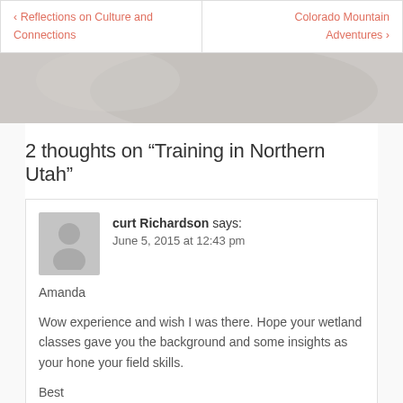< Reflections on Culture and Connections | Colorado Mountain Adventures >
2 thoughts on “Training in Northern Utah”
curt Richardson says:
June 5, 2015 at 12:43 pm
Amanda

Wow experience and wish I was there. Hope your wetland classes gave you the background and some insights as your hone your field skills.

Best
Amanda says:
June 6, 2015 at 3:50 am